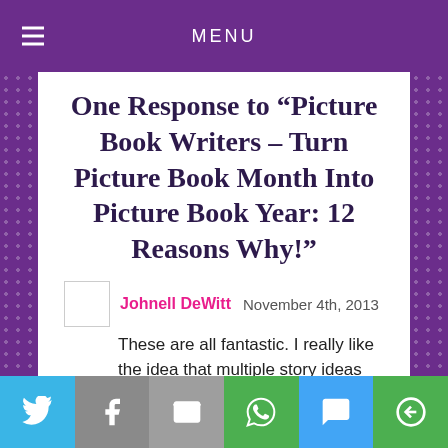MENU
One Response to “Picture Book Writers – Turn Picture Book Month Into Picture Book Year: 12 Reasons Why!”
Johnell DeWitt   November 4th, 2013
These are all fantastic. I really like the idea that multiple story ideas brewing keeps writer's block at bay. Great tips.